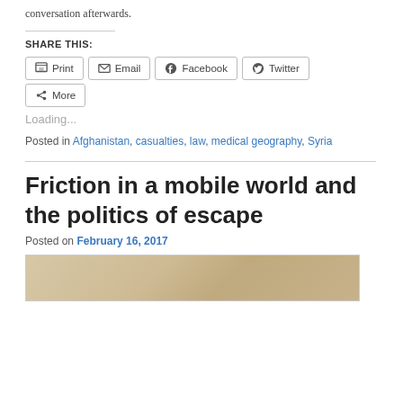conversation afterwards.
SHARE THIS:
Print  Email  Facebook  Twitter  More
Loading...
Posted in Afghanistan, casualties, law, medical geography, Syria
Friction in a mobile world and the politics of escape
Posted on February 16, 2017
[Figure (photo): Historical sepia-toned photograph partially visible at the bottom of the page]